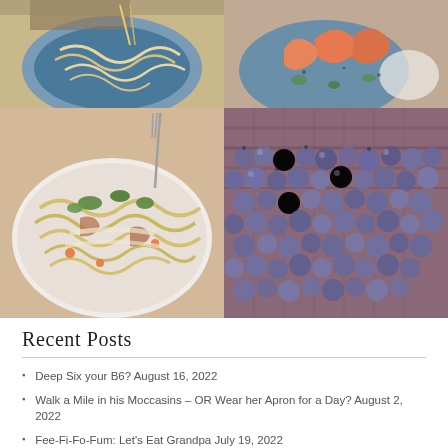[Figure (photo): Top-left food photo: pasta or noodle dish on a blue plate]
[Figure (photo): Top-right food photo: shrimp/prawns on a blue plate with herbs]
[Figure (photo): Bottom-left food photo: bowl of fettuccine/tagliatelle pasta with creamy sauce, herbs, and vegetables]
[Figure (photo): Bottom-right food photo: basket filled with fresh blueberries]
Recent Posts
Deep Six your B6? August 16, 2022
Walk a Mile in his Moccasins – OR Wear her Apron for a Day? August 2, 2022
Fee-Fi-Fo-Fum: Let's Eat Grandpa July 19, 2022
The Color Purple July 5, 2022